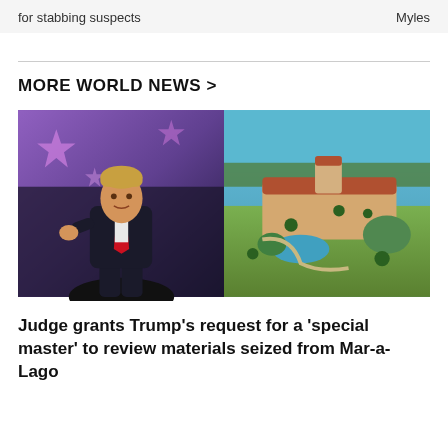for stabbing suspects   Myles
MORE WORLD NEWS >
[Figure (photo): Two images side by side: left shows Donald Trump in a dark suit with red tie at a purple star-decorated event; right shows an aerial view of the Mar-a-Lago estate in Palm Beach, Florida, with ocean in the background.]
Judge grants Trump's request for a 'special master' to review materials seized from Mar-a-Lago